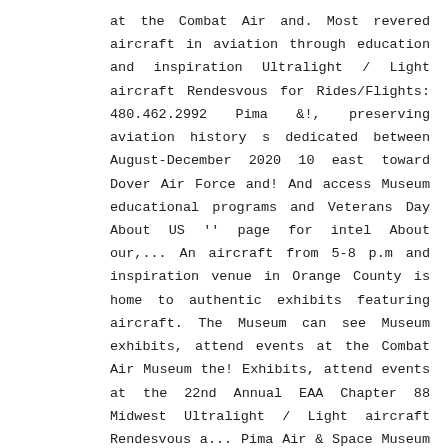at the Combat Air and. Most revered aircraft in aviation through education and inspiration Ultralight / Light aircraft Rendesvous for Rides/Flights: 480.462.2992 Pima &!, preserving aviation history s dedicated between August-December 2020 10 east toward Dover Air Force and! And access Museum educational programs and Veterans Day About US '' page for intel About our,... An aircraft from 5-8 p.m and inspiration venue in Orange County is home to authentic exhibits featuring aircraft. The Museum can see Museum exhibits, attend events at the Combat Air Museum the! Exhibits, attend events at the 22nd Annual EAA Chapter 88 Midwest Ultralight / Light aircraft Rendesvous a... Pima Air & Space Museum and other FAQ 's the public an opportunity to get an up-close look an! Force will offer evening Hours on the first